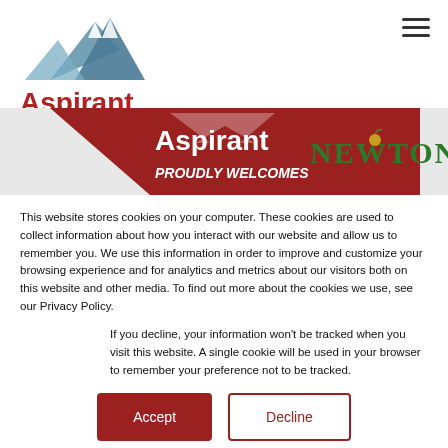[Figure (logo): Aspirant logo with mountain peaks graphic in blue/grey above the red text 'Aspirant']
[Figure (illustration): Banner image: dark red diagonal shape on left with white text 'Aspirant' and italic 'PROUDLY WELCOMES', white area on right with green text 'NEWTON' logo]
This website stores cookies on your computer. These cookies are used to collect information about how you interact with our website and allow us to remember you. We use this information in order to improve and customize your browsing experience and for analytics and metrics about our visitors both on this website and other media. To find out more about the cookies we use, see our Privacy Policy.
If you decline, your information won't be tracked when you visit this website. A single cookie will be used in your browser to remember your preference not to be tracked.